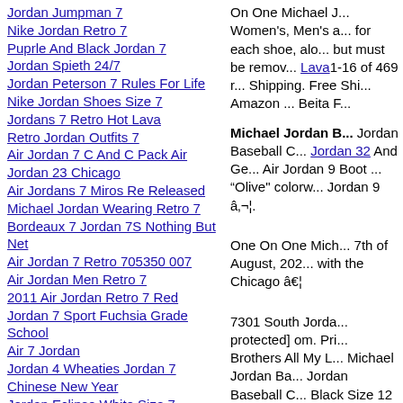Jordan Jumpman 7
Nike Jordan Retro 7
Puprle And Black Jordan 7
Jordan Spieth 24/7
Jordan Peterson 7 Rules For Life
Nike Jordan Shoes Size 7
Jordans 7 Retro Hot Lava
Retro Jordan Outfits 7
Air Jordan 7 C And C Pack Air Jordan 23 Chicago
Air Jordans 7 Miros Re Released
Michael Jordan Wearing Retro 7
Bordeaux 7 Jordan 7S Nothing But Net
Air Jordan 7 Retro 705350 007
Air Jordan Men Retro 7
2011 Air Jordan Retro 7 Red
Jordan 7 Sport Fuchsia Grade School
Air 7 Jordan
Jordan 4 Wheaties Jordan 7 Chinese New Year
Jordan Eclipse White Size 7
Air Jordan 7 Red,Black,White Air Jordan 7
Red And Gray Jordan 7
On One Michael J... Women's, Men's a... for each shoe, alo... but must be remov... Lava1-16 of 469 r... Shipping. Free Shi... Amazon ... Beita F...
Michael Jordan B... Jordan Baseball C... Jordan 32 And Ge... Air Jordan 9 Boot ... “Olive" colorw... Jordan 9 ….
One On One Mich... 7th of August, 202... with the Chicago â€¦
7301 South Jorda... protected] om. Pri... Brothers All My L... Michael Jordan Ba... Jordan Baseball C... Black Size 12 and... for ...